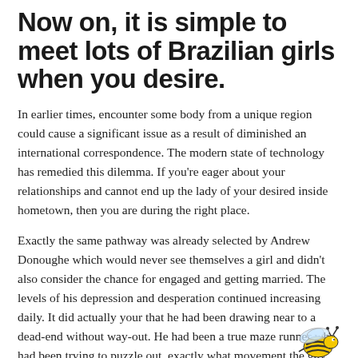Now on, it is simple to meet lots of Brazilian girls when you desire.
In earlier times, encounter some body from a unique region could cause a significant issue as a result of diminished an international correspondence. The modern state of technology has remedied this dilemma. If you're eager about your relationships and cannot end up the lady of your desired inside hometown, then you are during the right place.
Exactly the same pathway was already selected by Andrew Donoughe which would never see themselves a girl and didn't also consider the chance for engaged and getting married. The levels of his depression and desperation continued increasing daily. It did actually your that he had been drawing near to a dead-end without way-out. He had been a true maze runner who had been trying to puzzle out, exactly what movement the guy should select to be pleased throughout his lives.